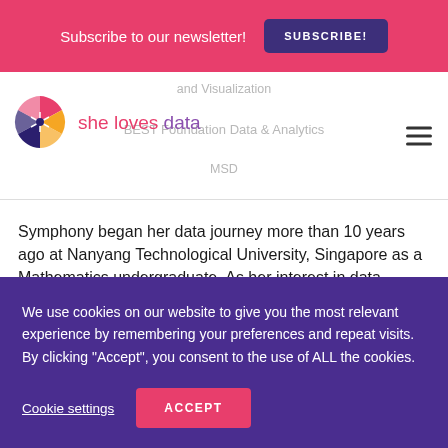Subscribe to our newsletter! SUBSCRIBE!
[Figure (logo): She Loves Data logo with colorful fan/pinwheel icon and brand name in pink and purple]
and Visualization
BEST Foundation Data & Analytics
MSD
Symphony began her data journey more than 10 years ago at Nanyang Technological University, Singapore as a Mathematics undergraduate. As her interest in data
We use cookies on our website to give you the most relevant experience by remembering your preferences and repeat visits. By clicking "Accept", you consent to the use of ALL the cookies.
Cookie settings
ACCEPT